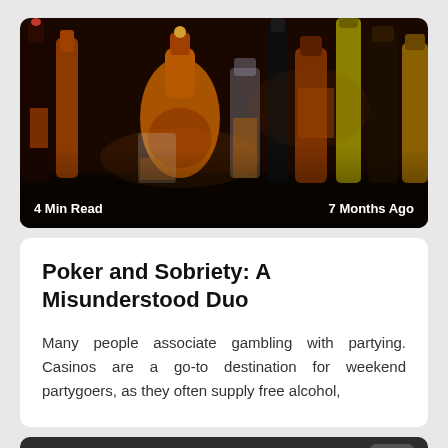[Figure (photo): Photo of multiple liquor bottles of various shapes and colors arranged together on a dark surface, with a whiskey glass visible]
4 Min Read | 7 Months Ago
Poker and Sobriety: A Misunderstood Duo
Many people associate gambling with partying. Casinos are a go-to destination for weekend partygoers, as they often supply free alcohol,
CARDPLAYERLIFESTYLE.COM